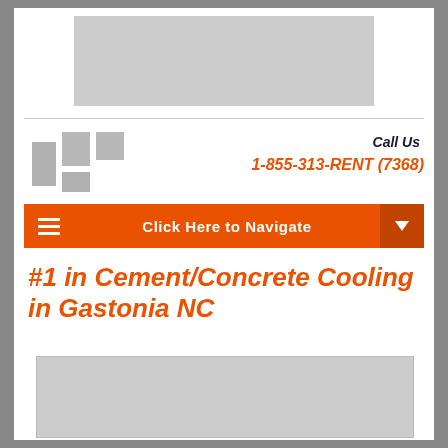[Figure (other): Gray advertisement banner placeholder at top of page]
[Figure (logo): Company logo made of gray square blocks]
Call Us
1-855-313-RENT (7368)
Click Here to Navigate
#1 in Cement/Concrete Cooling in Gastonia NC
[Figure (photo): Gray image placeholder at bottom of page]